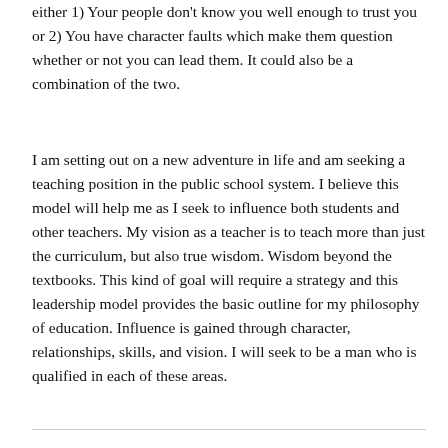either 1) Your people don't know you well enough to trust you or 2) You have character faults which make them question whether or not you can lead them. It could also be a combination of the two.
I am setting out on a new adventure in life and am seeking a teaching position in the public school system. I believe this model will help me as I seek to influence both students and other teachers. My vision as a teacher is to teach more than just the curriculum, but also true wisdom. Wisdom beyond the textbooks. This kind of goal will require a strategy and this leadership model provides the basic outline for my philosophy of education. Influence is gained through character, relationships, skills, and vision. I will seek to be a man who is qualified in each of these areas.